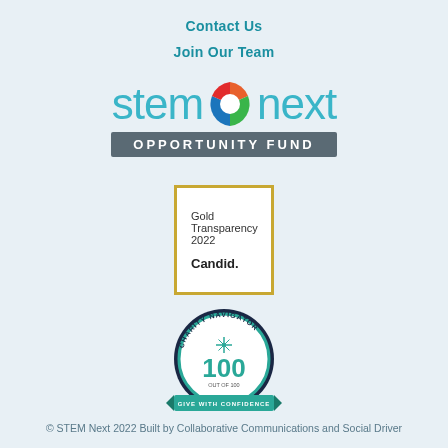Contact Us
Join Our Team
[Figure (logo): STEMNext Opportunity Fund logo with colorful circular icon and teal/grey text]
[Figure (logo): Candid Gold Transparency 2022 badge with gold border]
[Figure (logo): Charity Navigator 100 out of 100 Give With Confidence badge]
© STEM Next 2022 Built by Collaborative Communications and Social Driver